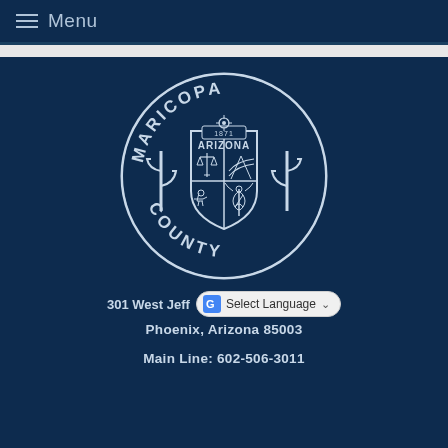Menu
[Figure (logo): Maricopa County official seal: circular seal with text 'MARICOPA' at top and 'COUNTY' at bottom, featuring Arizona shield with scales of justice, road/landscape, horseback rider, caduceus, flanked by saguaro cacti, year 1871 at top of shield, 'ARIZONA' text on shield]
301 West Jeff  Select Language
Phoenix, Arizona 85003
Main Line:  602-506-3011